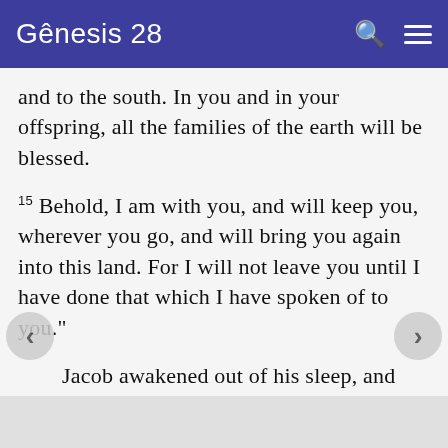Gênesis 28
and to the south. In you and in your offspring, all the families of the earth will be blessed.
15 Behold, I am with you, and will keep you, wherever you go, and will bring you again into this land. For I will not leave you until I have done that which I have spoken of to you."
Jacob awakened out of his sleep, and said, "Surely Yahweh is in this place, and I didn't know it."